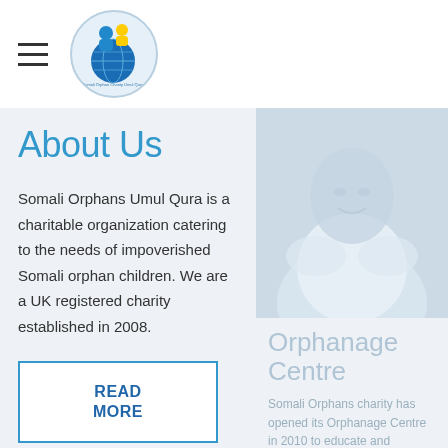Somali Orphans Charity Umul Qura — logo and navigation
About Us
Somali Orphans Umul Qura is a charitable organization catering to the needs of impoverished Somali orphan children. We are a UK registered charity established in 2008.
READ MORE
[Figure (photo): Photo of a person in a white shirt, faded/light tone]
Orphanage Centre
Somali Orphans charity has opened its Orphanage Centre in 2010 to educate and